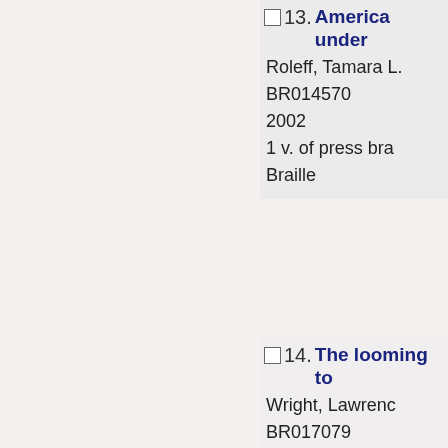13. America under
Roleff, Tamara L.
BR014570
2002
1 v. of press bra
Braille
14. The looming to
Wright, Lawrenc
BR017079
2006
5 v. of press bra
Braille
15. This republic o
War
Faust, Drew Gilp
BR017708
2008
4 v. of braille ; 28
Braille